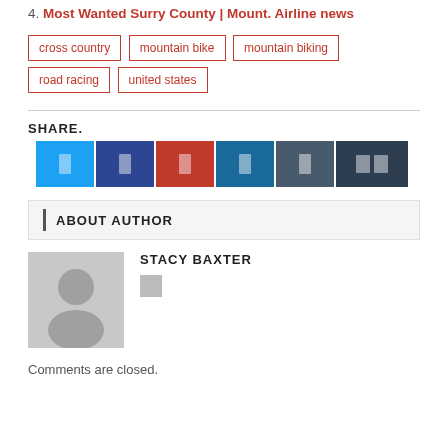4. Most Wanted Surry County | Mount. Airline news
cross country
mountain bike
mountain biking
road racing
united states
SHARE.
[Figure (infographic): Row of 6 social share buttons: Twitter (light blue), Facebook (dark blue), Pinterest (red), LinkedIn (medium blue), Tumblr (dark grey-blue), More (very dark blue), each with white icon]
ABOUT AUTHOR
STACY BAXTER
[Figure (photo): Grey placeholder avatar silhouette image for author Stacy Baxter]
Comments are closed.